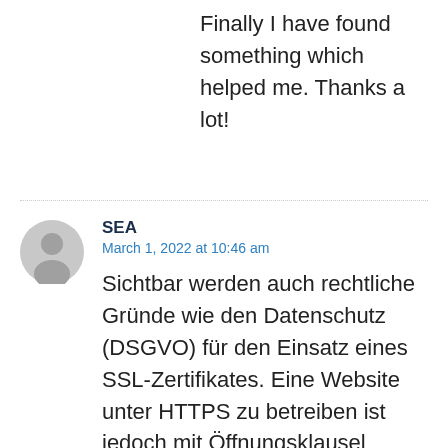Finally I have found something which helped me. Thanks a lot!
SEA
March 1, 2022 at 10:46 am
Sichtbar werden auch rechtliche Gründe wie den Datenschutz (DSGVO) für den Einsatz eines SSL-Zertifikates. Eine Website unter HTTPS zu betreiben ist jedoch mit Öffnungsklausel